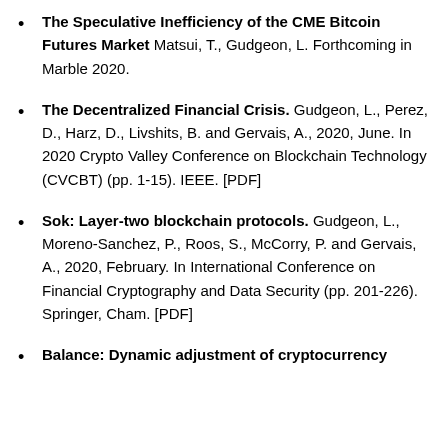The Speculative Inefficiency of the CME Bitcoin Futures Market Matsui, T., Gudgeon, L. Forthcoming in Marble 2020.
The Decentralized Financial Crisis. Gudgeon, L., Perez, D., Harz, D., Livshits, B. and Gervais, A., 2020, June. In 2020 Crypto Valley Conference on Blockchain Technology (CVCBT) (pp. 1-15). IEEE. [PDF]
Sok: Layer-two blockchain protocols. Gudgeon, L., Moreno-Sanchez, P., Roos, S., McCorry, P. and Gervais, A., 2020, February. In International Conference on Financial Cryptography and Data Security (pp. 201-226). Springer, Cham. [PDF]
Balance: Dynamic adjustment of cryptocurrency